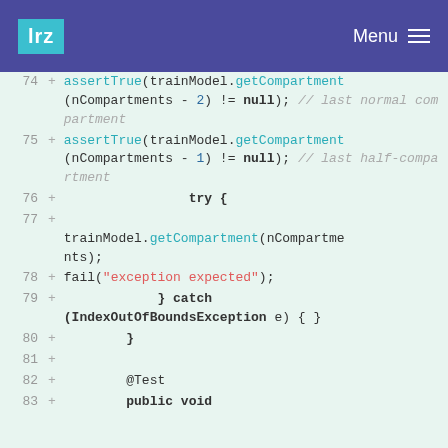lrz   Menu
74 + assertTrue(trainModel.getCompartment(nCompartments - 2) != null); // last normal compartment
75 + assertTrue(trainModel.getCompartment(nCompartments - 1) != null); // last half-compartment
76 +     try {
77 + trainModel.getCompartment(nCompartments);
78 + fail("exception expected");
79 +     } catch (IndexOutOfBoundsException e) { }
80 +     }
81 +
82 +     @Test
83 +     public void